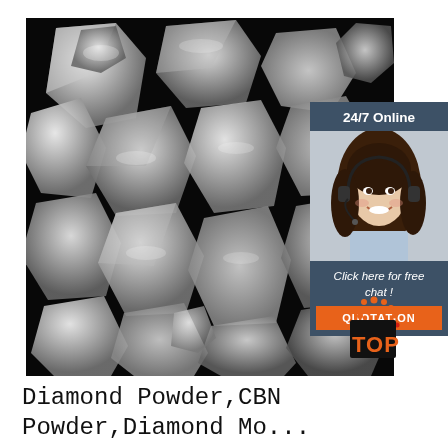[Figure (photo): Scanning electron microscope image of diamond powder crystals — angular, faceted white/grey particles on a black background, appearing as macro grain-like polyhedral shapes.]
[Figure (photo): 24/7 online chat widget showing a smiling woman with a headset, a dark blue-grey background, italic text 'Click here for free chat!', and an orange button labelled QUOTATION.]
[Figure (logo): TOP logo badge: orange and red dotted arc over a black square with the word TOP in orange letters with a dot above T.]
Diamond Powder,CBN Powder,Diamond Mo...